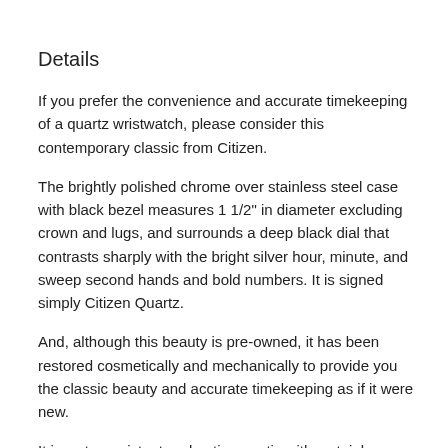Details
If you prefer the convenience and accurate timekeeping of a quartz wristwatch, please consider this contemporary classic from Citizen.
The brightly polished chrome over stainless steel case with black bezel measures 1 1/2" in diameter excluding crown and lugs, and surrounds a deep black dial that contrasts sharply with the bright silver hour, minute, and sweep second hands and bold numbers. It is signed simply Citizen Quartz.
And, although this beauty is pre-owned, it has been restored cosmetically and mechanically to provide you the classic beauty and accurate timekeeping as if it were new.
It is water resistant and antimagnetic with a stainless steel, snap-down back, fresh new battery, is matched with a supple new genuine leather black stitched strap with stainless steel buckle.